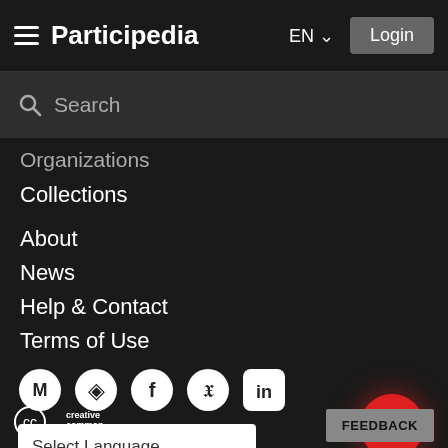Participedia  EN  Login
Search
Organizations
Collections
About
News
Help & Contact
Terms of Use
[Figure (infographic): Social media icons row: Medium (M), GitHub, Facebook, Twitter, LinkedIn]
Select Language
[Figure (infographic): Red circular FAB button with pencil/edit icon]
[Figure (logo): Creative Commons logo]
FEEDBACK